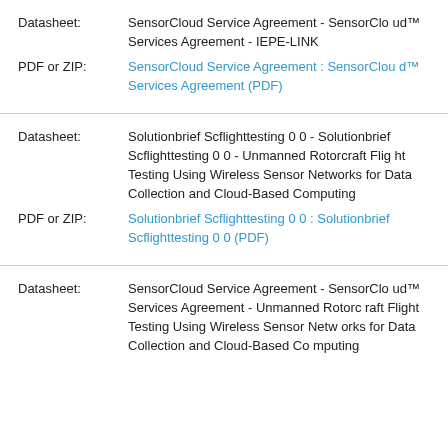Datasheet: SensorCloud Service Agreement - SensorCloud™ Services Agreement - IEPE-LINK
PDF or ZIP: SensorCloud Service Agreement : SensorCloud™ Services Agreement (PDF)
Datasheet: Solutionbrief Scflighttesting 0 0 - Solutionbrief Scflighttesting 0 0 - Unmanned Rotorcraft Flight Testing Using Wireless Sensor Networks for Data Collection and Cloud-Based Computing
PDF or ZIP: Solutionbrief Scflighttesting 0 0 : Solutionbrief Scflighttesting 0 0 (PDF)
Datasheet: SensorCloud Service Agreement - SensorCloud™ Services Agreement - Unmanned Rotorcraft Flight Testing Using Wireless Sensor Networks for Data Collection and Cloud-Based Computing